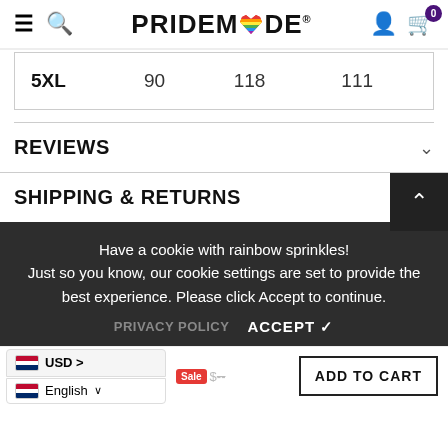PRIDEMODE
| 5XL | 90 | 118 | 111 |
REVIEWS
SHIPPING & RETURNS
Have a cookie with rainbow sprinkles! Just so you know, our cookie settings are set to provide the best experience. Please click Accept to continue.
PRIVACY POLICY   ACCEPT ✓
USD >  English ∨  ADD TO CART